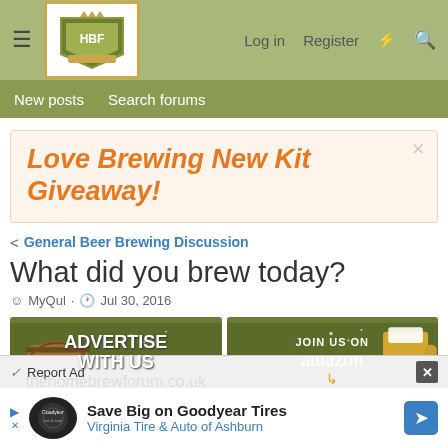[Figure (screenshot): Home Brew Forum logo with shield/crest design featuring HBF letters]
Log in   Register
New posts   Search forums
[Figure (infographic): Love Brewing New Kit Giveaway! advertisement banner with cream background]
< General Beer Brewing Discussion
What did you brew today?
MyQul · Jul 30, 2016
[Figure (infographic): Two advertisement banners: left shows 'ADVERTISE WITH US' on green background with beer barrel; right shows 'JOIN US ON amazon' on green background with beer mug]
[Figure (infographic): Bottom ad: Save Big on Goodyear Tires - Virginia Tire & Auto of Ashburn with Goodyear logo and blue arrow icon]